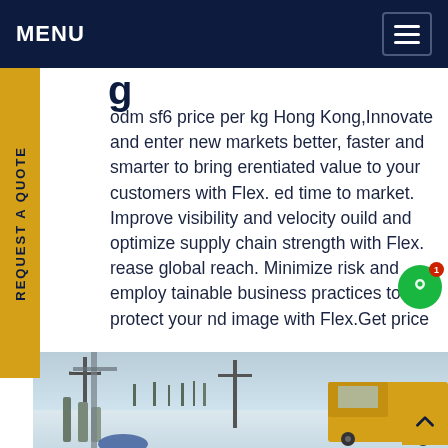MENU
g
odm sf6 price per kg Hong Kong,Innovate and enter new markets better, faster and smarter to bring erentiated value to your customers with Flex. ed time to market. Improve visibility and velocity ouild and optimize supply chain strength with Flex. rease global reach. Minimize risk and employ tainable business practices to protect your nd image with Flex.Get price
[Figure (photo): Outdoor winter scene showing industrial/electrical equipment and a yellow utility vehicle with snow on the ground, power line structures visible in background.]